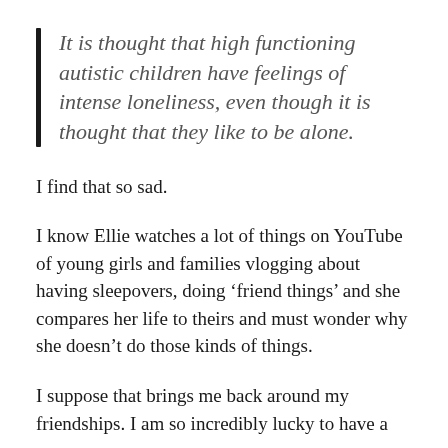It is thought that high functioning autistic children have feelings of intense loneliness, even though it is thought that they like to be alone.
I find that so sad.
I know Ellie watches a lot of things on YouTube of young girls and families vlogging about having sleepovers, doing ‘friend things’ and she compares her life to theirs and must wonder why she doesn’t do those kinds of things.
I suppose that brings me back around my friendships. I am so incredibly lucky to have a